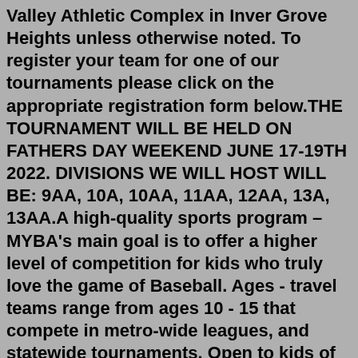Valley Athletic Complex in Inver Grove Heights unless otherwise noted. To register your team for one of our tournaments please click on the appropriate registration form below.THE TOURNAMENT WILL BE HELD ON FATHERS DAY WEEKEND JUNE 17-19TH 2022. DIVISIONS WE WILL HOST WILL BE: 9AA, 10A, 10AA, 11AA, 12AA, 13A, 13AA.A high-quality sports program – MYBA's main goal is to offer a higher level of competition for kids who truly love the game of Baseball. Ages - travel teams range from ages 10 - 15 that compete in metro-wide leagues, and statewide tournaments. Open to kids of many athletic abilities - the Millers field travel teams at the "AAA" (A), "AA ... We ended up with two state championship baseball teams and two teams that love and support each other. Winning state championships is incredible, but changing the culture and getting boys to believe they aren't Minnetonka Blue or Minnetonka White was bigger. ... 2022 GSTC - July 8-10. July 14 at 9:10 AM. Minnetonka Baseball Association. July... We'd like to offer you the job can